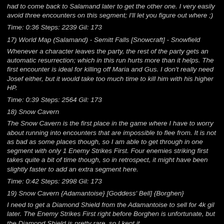had to come back to Salamand later to get the other one. I very easily avoid three encounters on this segment; I'll let you figure out where ;)
Time: 0:36 Steps: 2239 Gil: 173
17) World Map (Salamand) - Semitt Falls [Snowcraft] - Snowfield
Whenever a character leaves the party, the rest of the party gets an automatic resurrection; which in this run hurts more than it helps. The first encounter is ideal for killing off Maria and Gus. I don't really need Josef either, but it would take too much time to kill him with his higher HP.
Time: 0:39 Steps: 2564 Gil: 173
18) Snow Cavern
The Snow Cavern is the first place in the game where I have to worry about running into encounters that are impossible to flee from. It is not as bad as some places though, so I am able to get through in one segment with only 1 Enemy Strikes First. Four enemies striking first takes quite a bit of time though, so in retrospect, it might have been slightly faster to add an extra segment here.
Time: 0:42 Steps: 2998 Gil: 173
19) Snow Cavern {Adamantoise} [Goddess' Bell] {Borghen}
I need to get a Diamond Shield from the Adamantoise to sell for 4k gil later. The Enemy Strikes First right before Borghen is unfortunate, but the Diamond Shield is pretty rare, so I kept it.